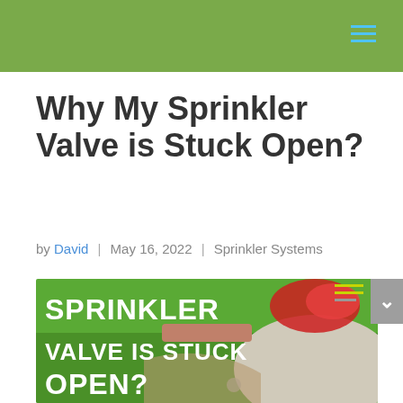Why My Sprinkler Valve is Stuck Open?
by David | May 16, 2022 | Sprinkler Systems
[Figure (photo): Hero image with text overlay reading SPRINKLER VALVE IS STUCK OPEN? on a background of green lawn with a garden pathway, flowers, and gravel.]